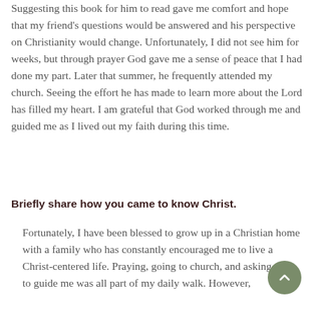Suggesting this book for him to read gave me comfort and hope that my friend's questions would be answered and his perspective on Christianity would change. Unfortunately, I did not see him for weeks, but through prayer God gave me a sense of peace that I had done my part. Later that summer, he frequently attended my church. Seeing the effort he has made to learn more about the Lord has filled my heart. I am grateful that God worked through me and guided me as I lived out my faith during this time.
Briefly share how you came to know Christ.
Fortunately, I have been blessed to grow up in a Christian home with a family who has constantly encouraged me to live a Christ-centered life. Praying, going to church, and asking God to guide me was all part of my daily walk. However,